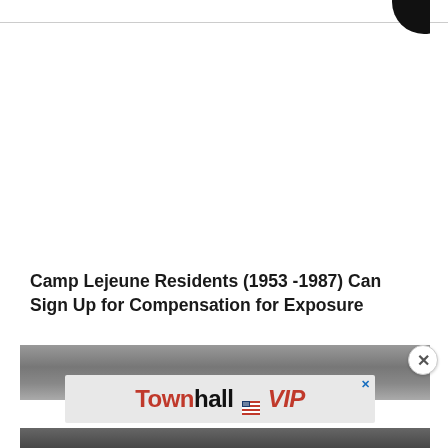[Figure (logo): Partial circular logo visible in upper right corner]
Camp Lejeune Residents (1953-1987) Can Sign Up for Compensation for Exposure
[Figure (photo): Top portion of a person's face (forehead and eyes area), grayscale photo]
[Figure (logo): Townhall VIP advertisement banner with red and black text on light gray background]
[Figure (photo): Bottom portion of a person's face, grayscale photo]